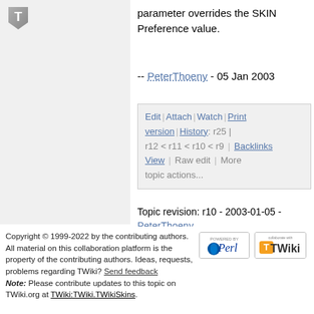[Figure (logo): TWiki T logo icon, grey shield shape with white T letter]
parameter overrides the SKIN Preference value.
-- PeterThoeny - 05 Jan 2003
Edit | Attach | Watch | Print version | History: r25 | r12 < r11 < r10 < r9 | Backlinks View | Raw edit | More topic actions...
Topic revision: r10 - 2003-01-05 - PeterThoeny
Copyright © 1999-2022 by the contributing authors. All material on this collaboration platform is the property of the contributing authors. Ideas, requests, problems regarding TWiki? Send feedback Note: Please contribute updates to this topic on TWiki.org at TWiki:TWiki.TWikiSkins.